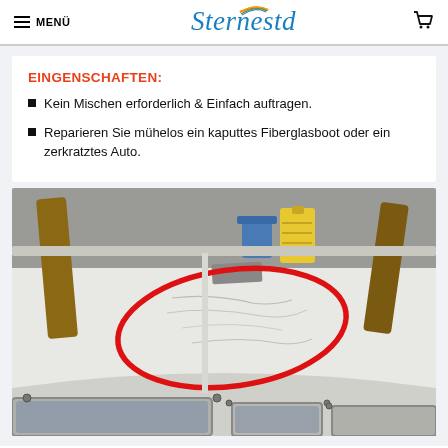MENÜ | Sternestd
EINGENSCHAFTEN:
Kein Mischen erforderlich & Einfach auftragen.
Reparieren Sie mühelos ein kaputtes Fiberglasboot oder ein zerkratztes Auto.
[Figure (photo): Photo of a scratched fiberglass boat surface with tools in the background; a red oval circle highlights the scratch area.]